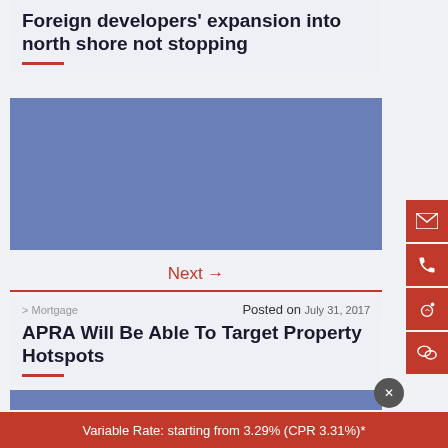Foreign developers' expansion into north shore not stopping
[Figure (photo): Blue placeholder image for article about foreign developers expanding into north shore]
Next →
> Mortgage   Posted on July 31, 2017
APRA Will Be Able To Target Property Hotspots
[Figure (photo): Blue placeholder image for article about APRA targeting property hotspots]
Variable Rate: starting from 3.29% (CPR 3.31%)*